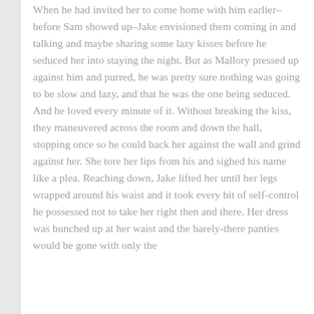When he had invited her to come home with him earlier–before Sam showed up–Jake envisioned them coming in and talking and maybe sharing some lazy kisses before he seduced her into staying the night. But as Mallory pressed up against him and purred, he was pretty sure nothing was going to be slow and lazy, and that he was the one being seduced. And he loved every minute of it. Without breaking the kiss, they maneuvered across the room and down the hall, stopping once so he could back her against the wall and grind against her. She tore her lips from his and sighed his name like a plea. Reaching down, Jake lifted her until her legs wrapped around his waist and it took every bit of self-control he possessed not to take her right then and there. Her dress was bunched up at her waist and the barely-there panties would be gone with only the